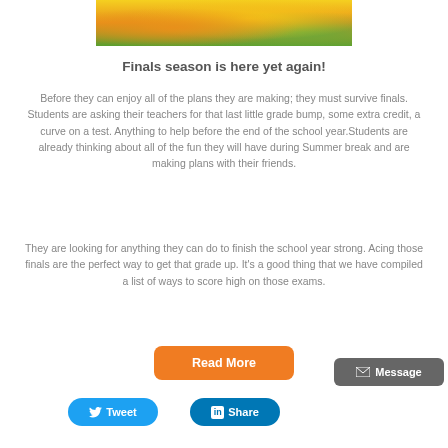[Figure (photo): Partial photo of fruits/vegetables (bananas, carrots, zucchini) at the top of the page, cropped]
Finals season is here yet again!
Before they can enjoy all of the plans they are making; they must survive finals. Students are asking their teachers for that last little grade bump, some extra credit, a curve on a test. Anything to help before the end of the school year.Students are already thinking about all of the fun they will have during Summer break and are making plans with their friends.
They are looking for anything they can do to finish the school year strong. Acing those finals are the perfect way to get that grade up. It's a good thing that we have compiled a list of ways to score high on those exams.
Read More
Message
Tweet
Share